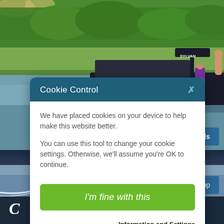[Figure (screenshot): Website screenshot showing a pontoon boat on a lake with people, overlaid with a cookie consent dialog. Background shows trees and water. Bottom strip shows another boat with people on water.]
Cookie Control
We have placed cookies on your device to help make this website better.
You can use this tool to change your cookie settings. Otherwise, we'll assume you're OK to continue.
I'm fine with this
Information and Settings
About our cookies
View Details
Back to top
C